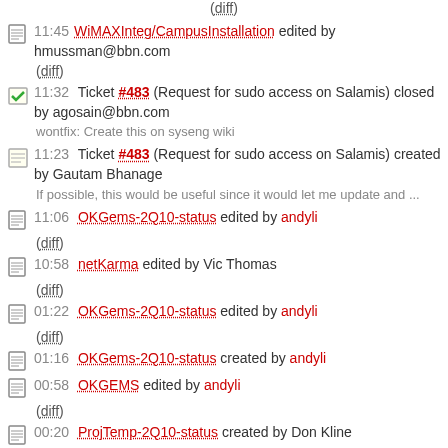(diff)
11:45 WiMAXInteg/CampusInstallation edited by hmussman@bbn.com
(diff)
11:32 Ticket #483 (Request for sudo access on Salamis) closed by agosain@bbn.com
wontfix: Create this on syseng wiki
11:23 Ticket #483 (Request for sudo access on Salamis) created by Gautam Bhanage
If possible, this would be useful since it would let me update and ...
11:06 OKGems-2Q10-status edited by andyli
(diff)
10:58 netKarma edited by Vic Thomas
(diff)
01:22 OKGems-2Q10-status edited by andyli
(diff)
01:16 OKGems-2Q10-status created by andyli
00:58 OKGEMS edited by andyli
(diff)
00:20 ProjTemp-2Q10-status created by Don Kline
00:19 VMI-FED edited by Don Kline
(diff)